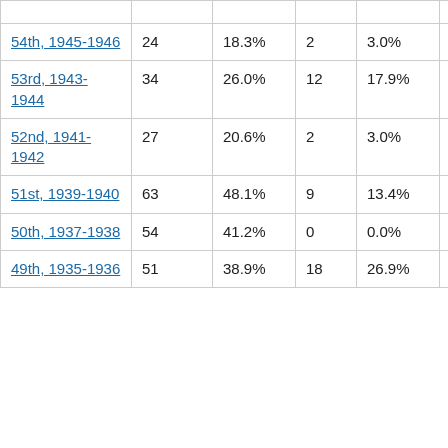|  |  |  |  |  |  |  |
| 54th, 1945-1946 | 24 | 18.3% | 2 | 3.0% | 26 | 13.1 |
| 53rd, 1943-1944 | 34 | 26.0% | 12 | 17.9% | 46 | 23. |
| 52nd, 1941-1942 | 27 | 20.6% | 2 | 3.0% | 29 | 14.6 |
| 51st, 1939-1940 | 63 | 48.1% | 9 | 13.4% | 72 | 36.4 |
| 50th, 1937-1938 | 54 | 41.2% | 0 | 0.0% | 54 | 27. |
| 49th, 1935-1936 | 51 | 38.9% | 18 | 26.9% | 69 | 34.8 |